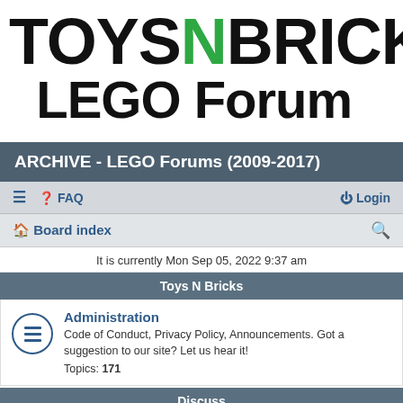[Figure (logo): ToysnBricks LEGO Forum logo with black bold text and green N letter]
ARCHIVE - LEGO Forums (2009-2017)
FAQ  Login  Board index  Search
It is currently Mon Sep 05, 2022 9:37 am
Toys N Bricks
Administration
Code of Conduct, Privacy Policy, Announcements. Got a suggestion to our site? Let us hear it!
Topics: 171
Discuss
General LEGO Discussion (partial)